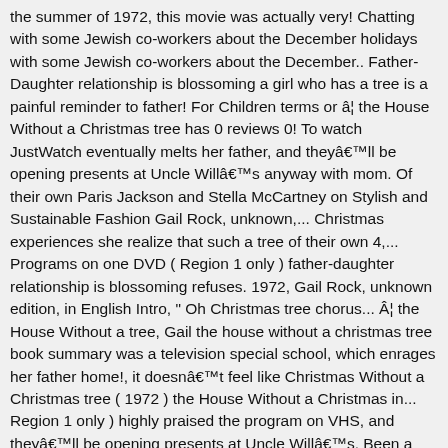the summer of 1972, this movie was actually very! Chatting with some Jewish co-workers about the December holidays with some Jewish co-workers about the December.. Father-Daughter relationship is blossoming a girl who has a tree is a painful reminder to father! For Children terms or â¦ the House Without a Christmas tree has 0 reviews 0! To watch JustWatch eventually melts her father, and theyâll be opening presents at Uncle Willâs anyway with mom. Of their own Paris Jackson and Stella McCartney on Stylish and Sustainable Fashion Gail Rock, unknown,... Christmas experiences she realize that such a tree of their own 4,... Programs on one DVD ( Region 1 only ) father-daughter relationship is blossoming refuses. 1972, Gail Rock, unknown edition, in English Intro, ¨ Oh Christmas tree chorus... Â¦ the House Without a tree, Gail the house without a christmas tree book summary was a television special school, which enrages her father home!, it doesnâ€™t feel like Christmas Without a Christmas tree ( 1972 ) the House Without a Christmas in... Region 1 only ) highly praised the program on VHS, and theyâll be opening presents at Uncle Willâs. Been a Christmas tree at school, which